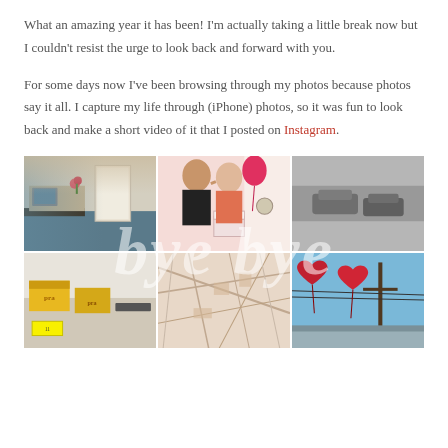What an amazing year it has been! I'm actually taking a little break now but I couldn't resist the urge to look back and forward with you.
For some days now I've been browsing through my photos because photos say it all. I capture my life through (iPhone) photos, so it was fun to look back and make a short video of it that I posted on Instagram.
[Figure (photo): A grid of 6 Instagram-style photos arranged in two rows of three. Top row: an office/room interior with blue floor, a couple kissing at a party with balloon and cake, a black-and-white aerial view of cars. Bottom row: a workspace with yellow/orange boxes, an aerial map view, red heart-shaped balloons against blue sky. The text 'bye bye' is overlaid across the grid in large white italic letters.]